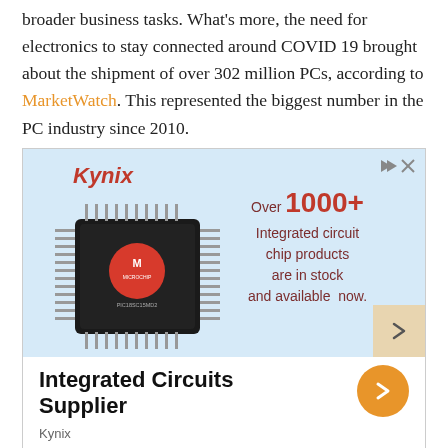broader business tasks. What's more, the need for electronics to stay connected around COVID 19 brought about the shipment of over 302 million PCs, according to MarketWatch. This represented the biggest number in the PC industry since 2010.
[Figure (infographic): Kynix advertisement banner showing a Microchip integrated circuit chip with text 'Over 1000+ Integrated circuit chip products are in stock and available now.' Logo in top-left in red italic font. Ad icons top-right. Below the image: 'Integrated Circuits Supplier' with orange arrow button, and 'Kynix' brand name.]